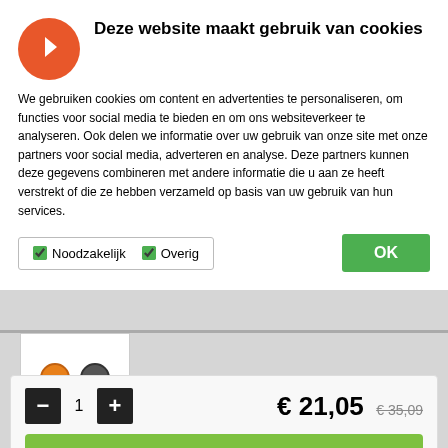Deze website maakt gebruik van cookies
We gebruiken cookies om content en advertenties te personaliseren, om functies voor social media te bieden en om ons websiteverkeer te analyseren. Ook delen we informatie over uw gebruik van onze site met onze partners voor social media, adverteren en analyse. Deze partners kunnen deze gegevens combineren met andere informatie die u aan ze heeft verstrekt of die ze hebben verzameld op basis van uw gebruik van hun services.
Noodzakelijk   Overig   OK
[Figure (screenshot): Product thumbnail showing two circular color swatches (orange and gray) with blurred product detail lines below]
€ 21,05  € 35,09
- 1 +  In winkelwagen